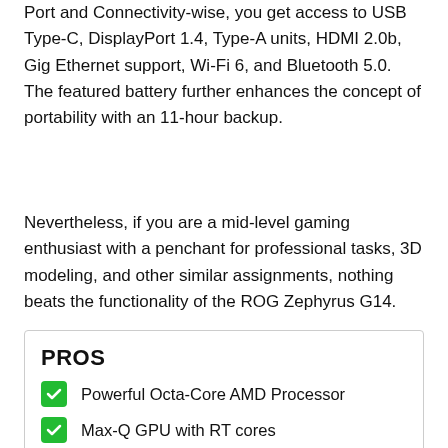Port and Connectivity-wise, you get access to USB Type-C, DisplayPort 1.4, Type-A units, HDMI 2.0b, Gig Ethernet support, Wi-Fi 6, and Bluetooth 5.0. The featured battery further enhances the concept of portability with an 11-hour backup.
Nevertheless, if you are a mid-level gaming enthusiast with a penchant for professional tasks, 3D modeling, and other similar assignments, nothing beats the functionality of the ROG Zephyrus G14.
PROS
Powerful Octa-Core AMD Processor
Max-Q GPU with RT cores
Pantone-Validated display